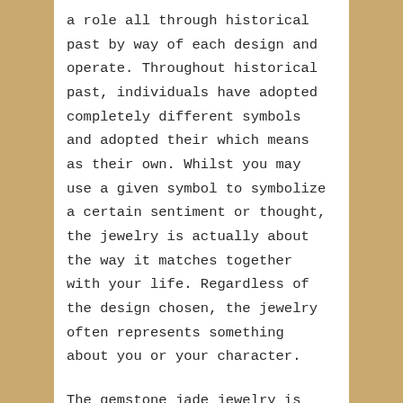a role all through historical past by way of each design and operate. Throughout historical past, individuals have adopted completely different symbols and adopted their which means as their own. Whilst you may use a given symbol to symbolize a certain sentiment or thought, the jewelry is actually about the way it matches together with your life. Regardless of the design chosen, the jewelry often represents something about you or your character.

The gemstone jade jewelry is mostly related to the Chinese. Jade is thought to